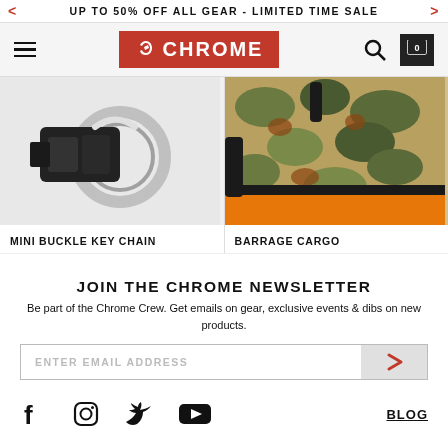UP TO 50% OFF ALL GEAR - LIMITED TIME SALE
[Figure (logo): Chrome Industries logo - red box with eagle and CHROME text in white]
[Figure (photo): Mini Buckle Key Chain close-up product photo showing black buckle and metal ring]
MINI BUCKLE KEY CHAIN
[Figure (photo): Barrage Cargo bag product photo showing camouflage and orange bag]
BARRAGE CARGO
JOIN THE CHROME NEWSLETTER
Be part of the Chrome Crew. Get emails on gear, exclusive events & dibs on new products.
ENTER EMAIL ADDRESS
[Figure (infographic): Social media icons: Facebook, Instagram, Twitter, YouTube, and BLOG link]